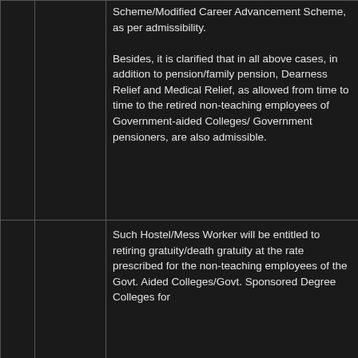|  |  | Scheme/Modified Career Advancement Scheme, as per admissibility.

Besides, it is clarified that in all above cases, in addition to pension/family pension, Dearness Relief and Medical Relief, as allowed from time to time to the retired non-teaching employees of Government-aided Colleges/Government pensioners, are also admissible. |
|  |  | Such Hostel/Mess Worker will be entitled to retiring gratuity/death gratuity at the rate prescribed for the non-teaching employees of the Govt. Aided Colleges/Govt. Sponsored Degree Colleges for... |